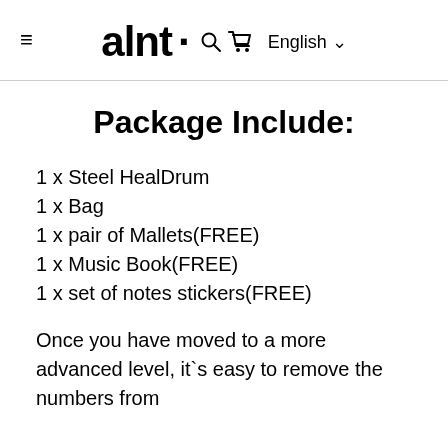alnt · English
Package Include:
1 x Steel HealDrum
1 x Bag
1 x pair of Mallets(FREE)
1 x Music Book(FREE)
1 x set of notes stickers(FREE)
Once you have moved to a more advanced level, it`s easy to remove the numbers from